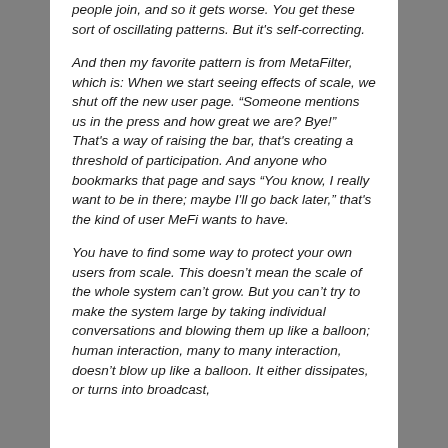people join, and so it gets worse. You get these sort of oscillating patterns. But it's self-correcting.
And then my favorite pattern is from MetaFilter, which is: When we start seeing effects of scale, we shut off the new user page. “Someone mentions us in the press and how great we are? Bye!” That's a way of raising the bar, that's creating a threshold of participation. And anyone who bookmarks that page and says “You know, I really want to be in there; maybe I'll go back later,” that's the kind of user MeFi wants to have.
You have to find some way to protect your own users from scale. This doesn’t mean the scale of the whole system can’t grow. But you can’t try to make the system large by taking individual conversations and blowing them up like a balloon; human interaction, many to many interaction, doesn’t blow up like a balloon. It either dissipates, or turns into broadcast,